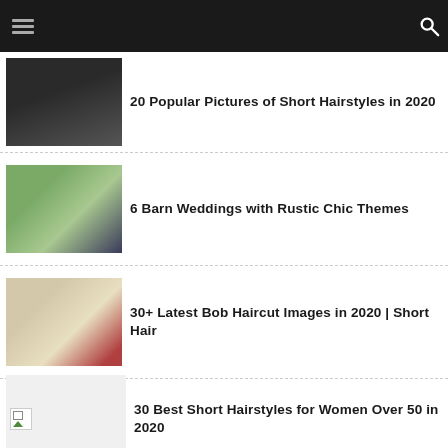Navigation header with hamburger menu and search icon
20 Popular Pictures of Short Hairstyles in 2020
6 Barn Weddings with Rustic Chic Themes
30+ Latest Bob Haircut Images in 2020 | Short Hair
30 Best Short Hairstyles for Women Over 50 in 2020
25+ Best Short Messy Hairstyles 2020 |